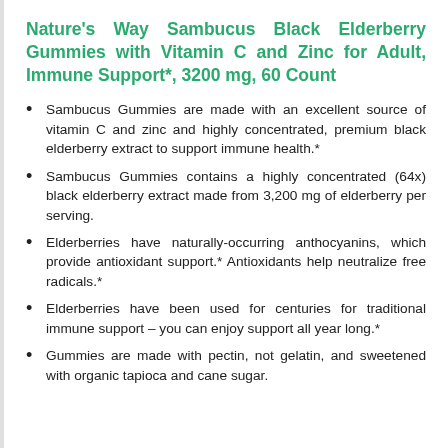Nature's Way Sambucus Black Elderberry Gummies with Vitamin C and Zinc for Adult, Immune Support*, 3200 mg, 60 Count
Sambucus Gummies are made with an excellent source of vitamin C and zinc and highly concentrated, premium black elderberry extract to support immune health.*
Sambucus Gummies contains a highly concentrated (64x) black elderberry extract made from 3,200 mg of elderberry per serving.
Elderberries have naturally-occurring anthocyanins, which provide antioxidant support.* Antioxidants help neutralize free radicals.*
Elderberries have been used for centuries for traditional immune support – you can enjoy support all year long.*
Gummies are made with pectin, not gelatin, and sweetened with organic tapioca and cane sugar.